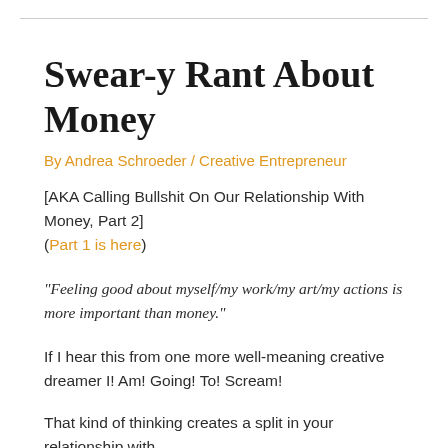Swear-y Rant About Money
By Andrea Schroeder / Creative Entrepreneur
[AKA Calling Bullshit On Our Relationship With Money, Part 2] (Part 1 is here)
“Feeling good about myself/my work/my art/my actions is more important than money.”
If I hear this from one more well-meaning creative dreamer I! Am! Going! To! Scream!
That kind of thinking creates a split in your relationship with money. It’s not a loving choice, it’s a…